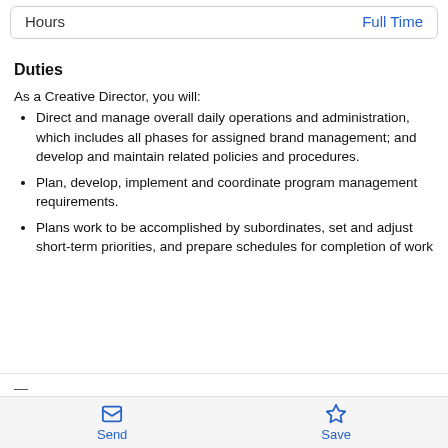| Hours |  |
| --- | --- |
| Hours | Full Time |
Duties
As a Creative Director, you will:
Direct and manage overall daily operations and administration, which includes all phases for assigned brand management; and develop and maintain related policies and procedures.
Plan, develop, implement and coordinate program management requirements.
Plans work to be accomplished by subordinates, set and adjust short-term priorities, and prepare schedules for completion of work
Send   Save